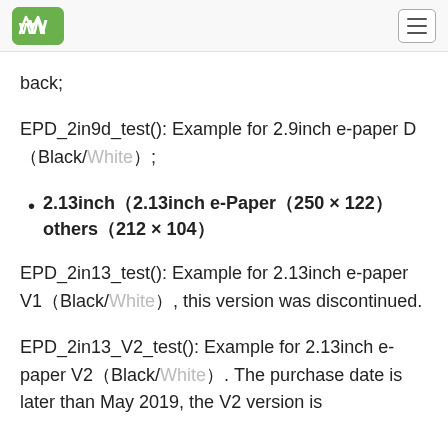Waveshare logo and navigation menu
back;
EPD_2in9d_test(): Example for 2.9inch e-paper D（Black/White）;
2.13inch（2.13inch e-Paper（250 × 122） others（212 × 104）
EPD_2in13_test(): Example for 2.13inch e-paper V1（Black/White）, this version was discontinued.
EPD_2in13_V2_test(): Example for 2.13inch e-paper V2（Black/White）. The purchase date is later than May 2019, the V2 version is